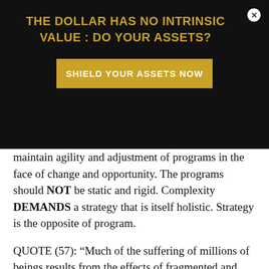THE DOLLAR HAS NO INTRINSIC VALUE : DO YOUR ASSETS?
[Figure (infographic): Gold-colored button reading 'SHIELD YOUR ASSETS NOW' on black background]
maintain agility and adjustment of programs in the face of change and opportunity. The programs should NOT be static and rigid. Complexity DEMANDS a strategy that is itself holistic. Strategy is the opposite of program.
QUOTE (57): “Much of the suffering of millions of beings results from the effects of fragmented and one-dimensional thought.”
Three common causalities among Western enterprises:
01 Linear causality
02 Feedback causality
03 Recursive causalities
The enterprise is the system between the individual and